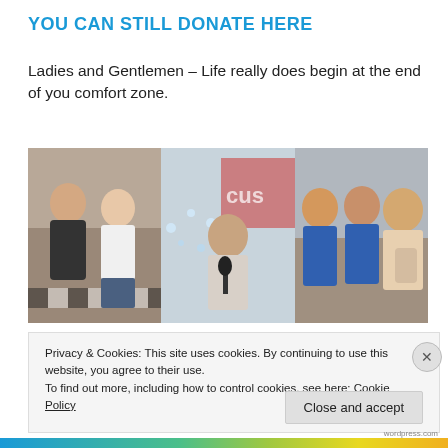YOU CAN STILL DONATE HERE
Ladies and Gentlemen – Life really does begin at the end of you comfort zone.
[Figure (photo): Three photos side by side: left shows two young men in a kitchen setting, middle shows a man speaking into a microphone with decorative lights behind, right shows three men in blue rugby jerseys celebrating.]
Privacy & Cookies: This site uses cookies. By continuing to use this website, you agree to their use.
To find out more, including how to control cookies, see here: Cookie Policy
Close and accept